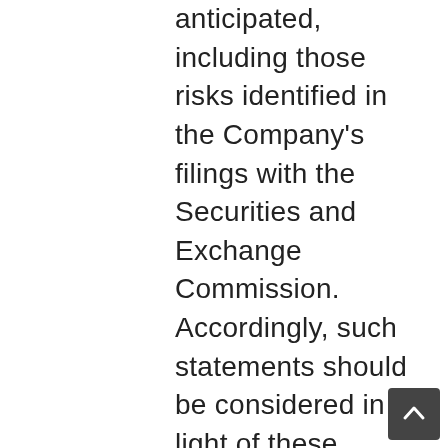anticipated, including those risks identified in the Company's filings with the Securities and Exchange Commission. Accordingly, such statements should be considered in light of these risks. Any prediction by the Company is only a statement of management's belief at the time the prediction is made. There can be no assurance that any prediction once made will continue thereafter to reflect management's belief, and the Company does not undertake to update publicly its predictions or to make voluntary additional disclosures of nonpublic information, whether as